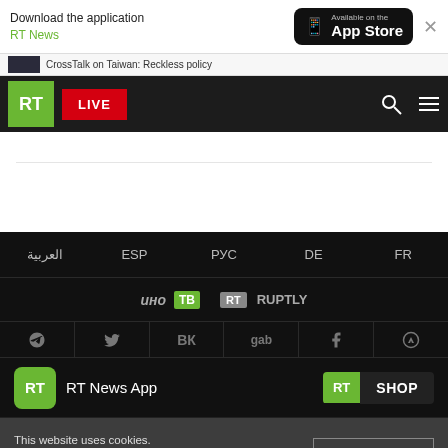[Figure (screenshot): RT News website screenshot showing app store banner, navigation bar, language links, partner logos, social icons, app/shop links, and cookie consent notice]
Download the application RT News
[Figure (logo): Available on the App Store button]
CrossTalk on Taiwan: Reckless policy
RT logo with LIVE button, search and menu icons
العربية
ESP
РУС
DE
FR
ино ТВ  RT  RUPTLY
Social icons: Telegram, Twitter, VK, gab, Facebook, Odysee
RT News App
RT SHOP
This website uses cookies. Read RT Privacy policy to find out more.
Accept cookies